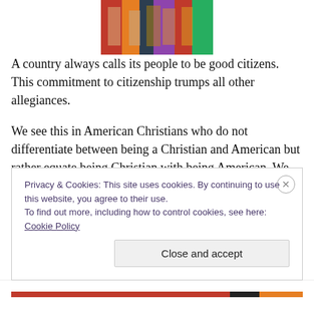[Figure (photo): Partial view of a colorful illustration or painting showing robed figures with flags, cropped at top of page]
A country always calls its people to be good citizens. This commitment to citizenship trumps all other allegiances.
We see this in American Christians who do not differentiate between being a Christian and American but rather equate being Christian with being American. We fly American flags in our sanctuaries, support our troops, and encourage Christians to support the Constitution and to obey the laws.
Privacy & Cookies: This site uses cookies. By continuing to use this website, you agree to their use.
To find out more, including how to control cookies, see here: Cookie Policy